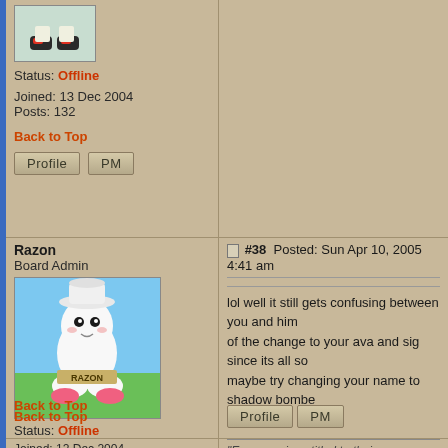Status: Offline
Joined: 13 Dec 2004
Posts: 132
Back to Top
Razon
Board Admin
[Figure (illustration): Razon avatar: cartoon white bomberman character sitting on grass]
Status: Offline
Joined: 12 Dec 2004
Posts: 959
Back to Top
#38  Posted: Sun Apr 10, 2005 4:41 am
lol well it still gets confusing between you and him...
"Everyone is entitled to their own opinions, but they're not...
Akagi-Ron
Bomberman
[Figure (illustration): Akagi-Ron avatar: cartoon red parrot/bird character]
Status: Offline
#39  Posted: Sun Apr 10, 2005 3:26 pm
Hmm i don't know who i like more, Shadow or So...
Ava and sig is very good.